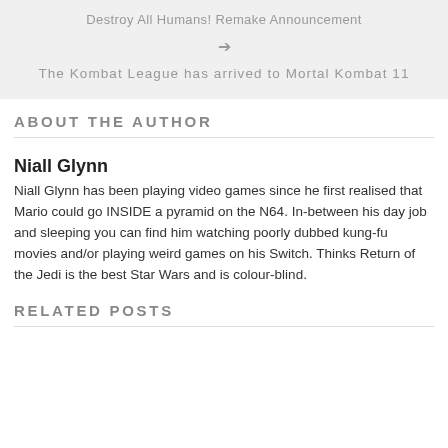Destroy All Humans! Remake Announcement
→
The Kombat League has arrived to Mortal Kombat 11
ABOUT THE AUTHOR
Niall Glynn
Niall Glynn has been playing video games since he first realised that Mario could go INSIDE a pyramid on the N64. In-between his day job and sleeping you can find him watching poorly dubbed kung-fu movies and/or playing weird games on his Switch. Thinks Return of the Jedi is the best Star Wars and is colour-blind.
RELATED POSTS